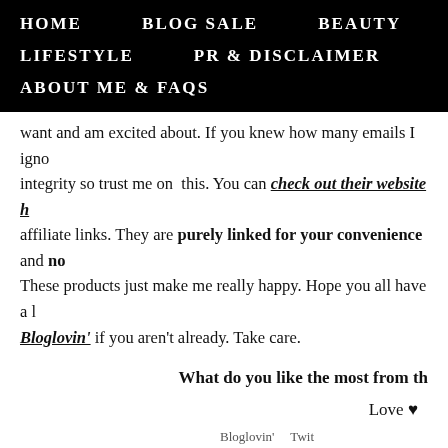HOME   BLOG SALE   BEAUTY   LIFESTYLE   PR & DISCLAIMER   ABOUT ME & FAQs
want and am excited about. If you knew how many emails I igno... integrity so trust me on this. You can check out their website h... affiliate links. They are purely linked for your convenience and no... These products just make me really happy. Hope you all have a l... Bloglovin' if you aren't already. Take care.
What do you like the most from th...
Love ♥
Kiran